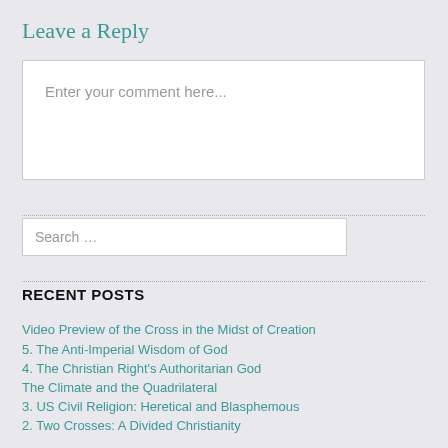Leave a Reply
Enter your comment here...
Search …
RECENT POSTS
Video Preview of the Cross in the Midst of Creation
5. The Anti-Imperial Wisdom of God
4. The Christian Right's Authoritarian God
The Climate and the Quadrilateral
3. US Civil Religion: Heretical and Blasphemous
2. Two Crosses: A Divided Christianity